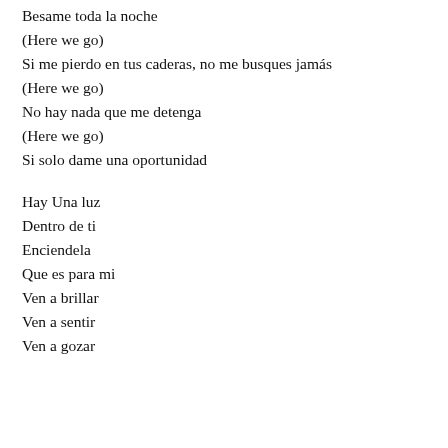Besame toda la noche
(Here we go)
Si me pierdo en tus caderas, no me busques jamás
(Here we go)
No hay nada que me detenga
(Here we go)
Si solo dame una oportunidad
Hay Una luz
Dentro de ti
Enciendela
Que es para mi
Ven a brillar
Ven a sentir
Ven a gozar